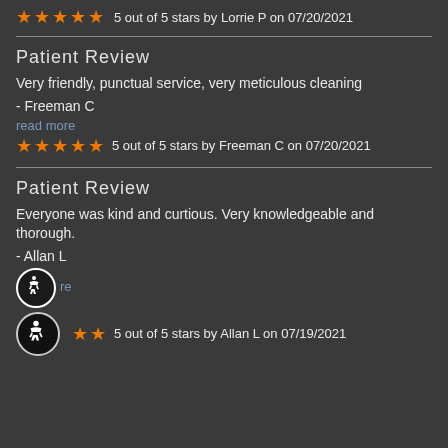5 out of 5 stars by Lorrie P on 07/20/2021
Patient Review
Very friendly, punctual service, very meticulous cleaning
- Freeman C
read more
5 out of 5 stars by Freeman C on 07/20/2021
Patient Review
Everyone was kind and curtious. Very knowledgeable and thorough.
- Allan L
read more
5 out of 5 stars by Allan L on 07/19/2021